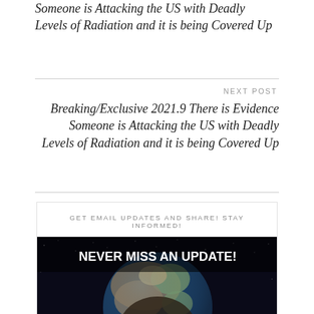Someone is Attacking the US with Deadly Levels of Radiation and it is being Covered Up
NEXT POST
Breaking/Exclusive 2021.9 There is Evidence Someone is Attacking the US with Deadly Levels of Radiation and it is being Covered Up
GET EMAIL UPDATES AND SHARE! STAY INFORMED!
[Figure (illustration): Dark image of Earth globe merged with a skull, space background, with bold white text overlay reading NEVER MISS AN UPDATE!]